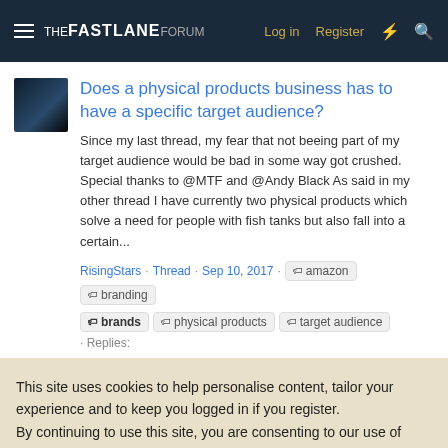THE FASTLANE FORUM  Log in  Register
Does a physical products business has to have a specific target audience?
Since my last thread, my fear that not beeing part of my target audience would be bad in some way got crushed. Special thanks to @MTF and @Andy Black As said in my other thread I have currently two physical products which solve a need for people with fish tanks but also fall into a certain...
RisingStars · Thread · Sep 10, 2017 · amazon  branding  brands  physical products  target audience · Replies:
This site uses cookies to help personalise content, tailor your experience and to keep you logged in if you register.
By continuing to use this site, you are consenting to our use of cookies.
✓ Accept   Learn more...